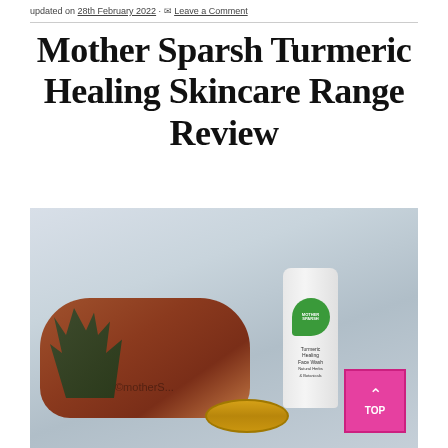updated on 28th February 2022 · Leave a Comment
Mother Sparsh Turmeric Healing Skincare Range Review
[Figure (photo): Brown leather toiletry bag with a pine branch, gold coins stacked, and a white tube of Mother Sparsh Turmeric Healing Face Wash with green logo, arranged on a white draped cloth background. A pink 'TOP' scroll button is visible in the bottom right corner.]